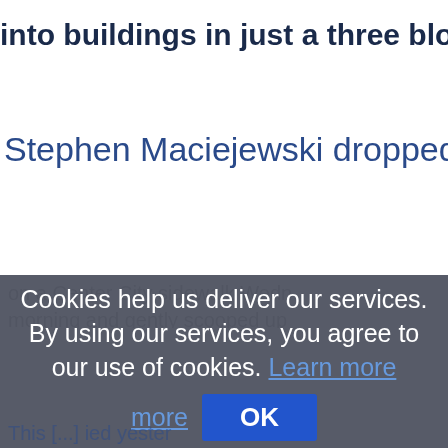into buildings in just a three blo
Stephen Maciejewski dropped to
on a Center City sidewalk Wedn morning and gently scooped up
Cookies help us deliver our services. By using our services, you agree to our use of cookies. Learn more
America of the West Indies
This [...]  ied yester